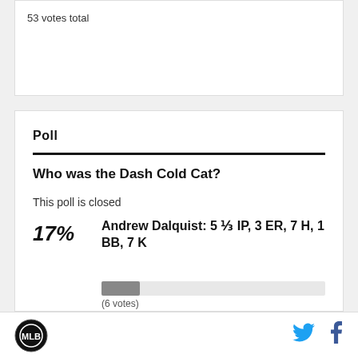53 votes total
Poll
Who was the Dash Cold Cat?
This poll is closed
17%  Andrew Dalquist: 5 ⅓ IP, 3 ER, 7 H, 1 BB, 7 K  (6 votes)
57%  Tyler Osik: 0-for-3, BB, 2 K